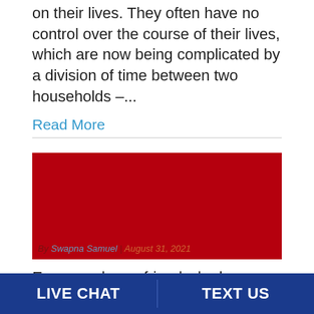on their lives. They often have no control over the course of their lives, which are now being complicated by a division of time between two households –...
Read More
[Figure (photo): Red rectangular image with caption: By Swapna Samuel | August 31, 2021]
Everyone has a friend who has been involved in a volatile relationship. Maybe someone who
LIVE CHAT   TEXT US